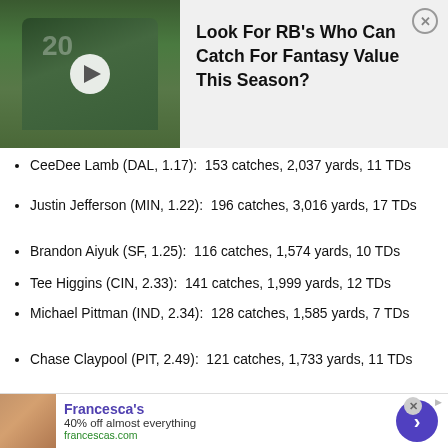[Figure (photo): NFL running back in Seahawks uniform (#20) carrying football, with video play button overlay. Advertisement for fantasy football content.]
Look For RB's Who Can Catch For Fantasy Value This Season?
CeeDee Lamb (DAL, 1.17):  153 catches, 2,037 yards, 11 TDs
Justin Jefferson (MIN, 1.22):  196 catches, 3,016 yards, 17 TDs
Brandon Aiyuk (SF, 1.25):  116 catches, 1,574 yards, 10 TDs
Tee Higgins (CIN, 2.33):  141 catches, 1,999 yards, 12 TDs
Michael Pittman (IND, 2.34):  128 catches, 1,585 yards, 7 TDs
Chase Claypool (PIT, 2.49):  121 catches, 1,733 yards, 11 TDs
Van Jefferson (LAR, 2.57):  69 catches, 1,022 yards, 7 TDs
[Figure (photo): Francesca's advertisement banner with woman in white outfit. 40% off almost everything. francescas.com]